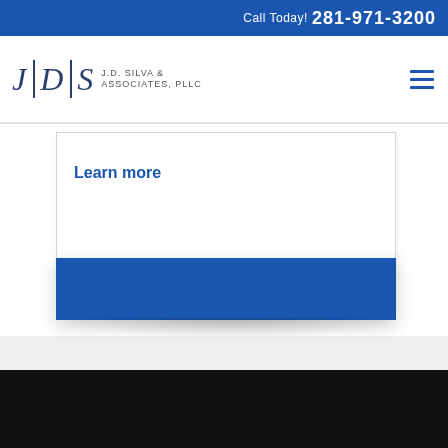Call Today! 281-971-3200
[Figure (logo): JDS J.D. Silva & Associates, PLLC law firm logo with vertical dividers between J, D, S letters]
CAR ACCIDENT ATTORNEY
and need to speak with an attorney? We can help...
Learn more
[Figure (other): Blue rectangle banner section]